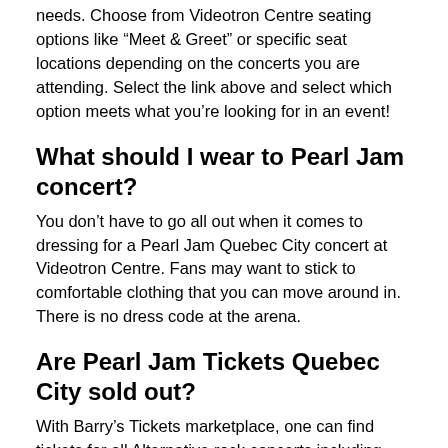needs. Choose from Videotron Centre seating options like “Meet & Greet” or specific seat locations depending on the concerts you are attending. Select the link above and select which option meets what you’re looking for in an event!
What should I wear to Pearl Jam concert?
You don’t have to go all out when it comes to dressing for a Pearl Jam Quebec City concert at Videotron Centre. Fans may want to stick to comfortable clothing that you can move around in. There is no dress code at the arena.
Are Pearl Jam Tickets Quebec City sold out?
With Barry’s Tickets marketplace, one can find tickets for all Alternative rock concerts including Pearl Jam